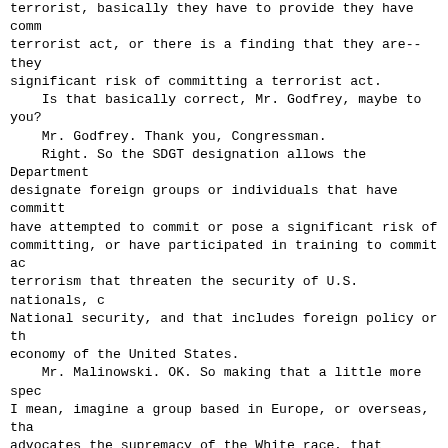terrorist, basically they have to provide they have comm terrorist act, or there is a finding that they are--they significant risk of committing a terrorist act.
    Is that basically correct, Mr. Godfrey, maybe to you?
    Mr. Godfrey. Thank you, Congressman.
    Right. So the SDGT designation allows the Department designate foreign groups or individuals that have committ have attempted to commit or pose a significant risk of committing, or have participated in training to commit ac terrorism that threaten the security of U.S. nationals, National security, and that includes foreign policy or t economy of the United States.
    Mr. Malinowski. OK. So making that a little more spec I mean, imagine a group based in Europe, or overseas, th advocates the supremacy of the White race, that advocates replacement of democratically-elected governments with, know, basically, you know, fascism or Nazism, that advoca violence in support of that goal, perhaps, even offers s arms training, or explosives training, to people who wan who share their ideology. Would that be enough to be abl you know, generically--I am not talking about a specifi group--to trigger that kind of designation?
    What I am getting at here is whether that authority sufficiently robust. It is more limited in terms of the unintended consequences, which is why it is attractive. the definition sufficient? You know, is the bar set at right point?
    Mr. Godfrey. Congressman, the example, the hypotheti gave, which we are always reluctant to engage in, but I it is an aptly formed one. I think in that instance, the